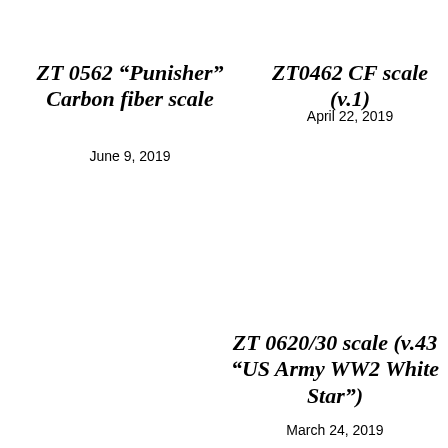ZT 0562 “Punisher” Carbon fiber scale
June 9, 2019
ZT0462 CF scale (v.1)
April 22, 2019
ZT 0620/30 scale (v.43 “US Army WW2 White Star”)
March 24, 2019